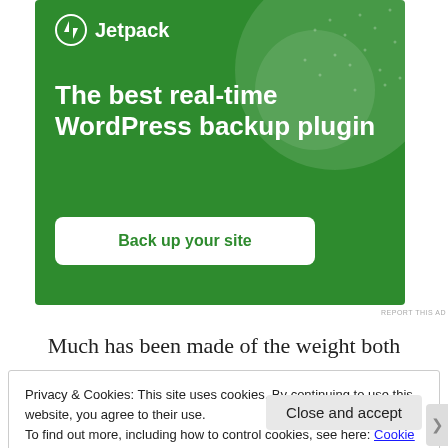[Figure (screenshot): Jetpack WordPress plugin advertisement banner on green background with logo, headline 'The best real-time WordPress backup plugin', and 'Back up your site' CTA button]
REPORT THIS AD
Much has been made of the weight both
Privacy & Cookies: This site uses cookies. By continuing to use this website, you agree to their use.
To find out more, including how to control cookies, see here: Cookie Policy
Close and accept
REPORT THIS AD